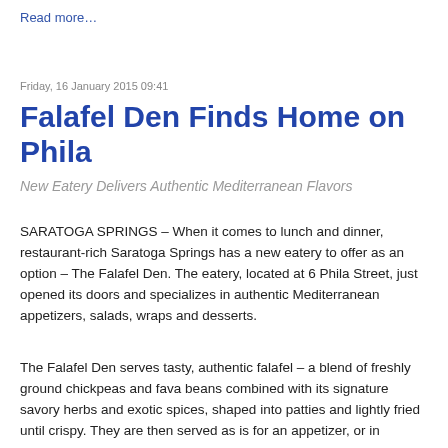Read more…
Friday, 16 January 2015 09:41
Falafel Den Finds Home on Phila
New Eatery Delivers Authentic Mediterranean Flavors
SARATOGA SPRINGS – When it comes to lunch and dinner, restaurant-rich Saratoga Springs has a new eatery to offer as an option – The Falafel Den. The eatery, located at 6 Phila Street, just opened its doors and specializes in authentic Mediterranean appetizers, salads, wraps and desserts.
The Falafel Den serves tasty, authentic falafel – a blend of freshly ground chickpeas and fava beans combined with its signature savory herbs and exotic spices, shaped into patties and lightly fried until crispy. They are then served as is for an appetizer, or in